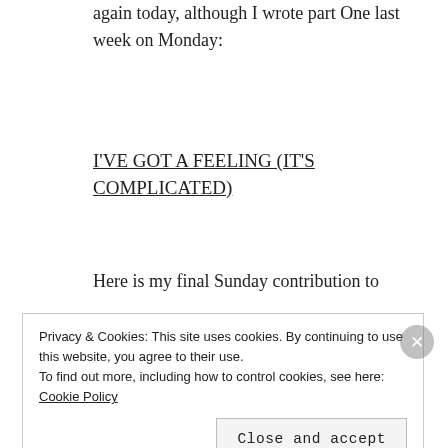again today, although I wrote part One last week on Monday:
I'VE GOT A FEELING (IT'S COMPLICATED)
Here is my final Sunday contribution to
LOVE IS IN DA BLOG 2016,
Privacy & Cookies: This site uses cookies. By continuing to use this website, you agree to their use.
To find out more, including how to control cookies, see here: Cookie Policy
Close and accept